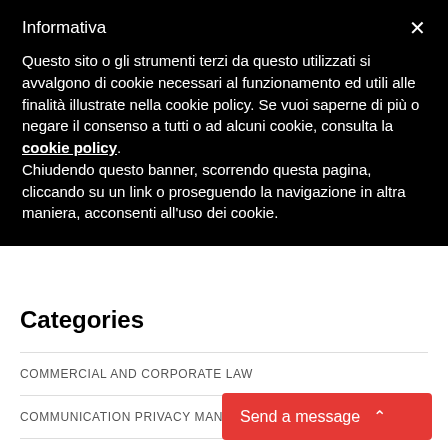Informativa
Questo sito o gli strumenti terzi da questo utilizzati si avvalgono di cookie necessari al funzionamento ed utili alle finalità illustrate nella cookie policy. Se vuoi saperne di più o negare il consenso a tutti o ad alcuni cookie, consulta la cookie policy. Chiudendo questo banner, scorrendo questa pagina, cliccando su un link o proseguendo la navigazione in altra maniera, acconsenti all'uso dei cookie.
Categories
COMMERCIAL AND CORPORATE LAW
COMMUNICATION PRIVACY MANAGEMENT
COMPETITION LAW